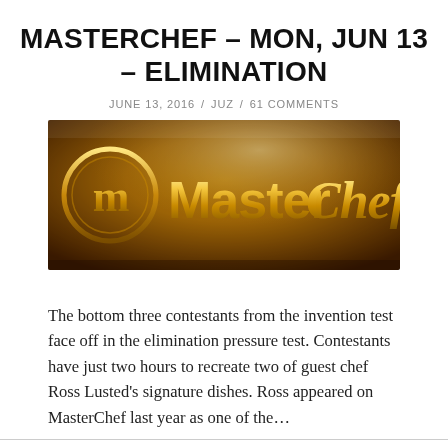MASTERCHEF – MON, JUN 13 – ELIMINATION
JUNE 13, 2016 / JUZ / 61 COMMENTS
[Figure (photo): MasterChef logo on a dark golden/amber background showing the stylized M in a circle and the word MasterChef in large gold 3D letters]
The bottom three contestants from the invention test face off in the elimination pressure test. Contestants have just two hours to recreate two of guest chef Ross Lusted's signature dishes. Ross appeared on MasterChef last year as one of the...
Continue Reading →